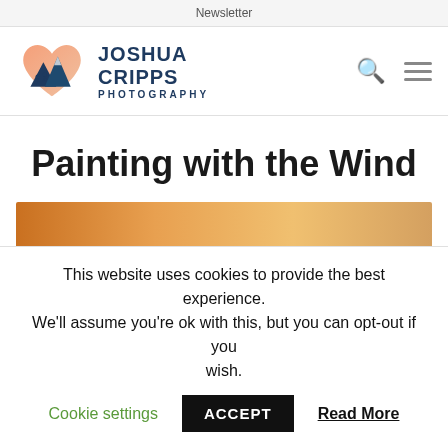Newsletter
[Figure (logo): Joshua Cripps Photography logo: heart shape with mountain silhouette and hikers, blue and orange gradient, with text JOSHUA CRIPPS PHOTOGRAPHY]
Painting with the Wind
[Figure (photo): Warm copper/orange toned landscape photograph, partially visible]
This website uses cookies to provide the best experience. We'll assume you're ok with this, but you can opt-out if you wish.
Cookie settings  ACCEPT  Read More